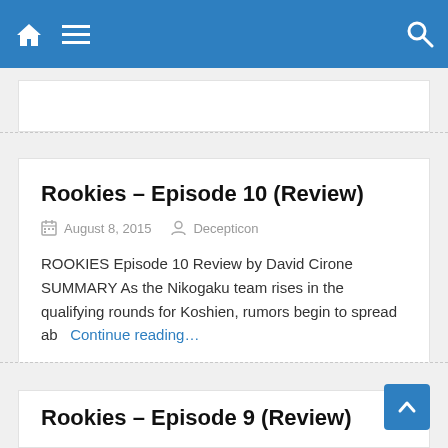Navigation bar with home icon, menu icon, and search icon
Rookies – Episode 10 (Review)
August 8, 2015   Decepticon
ROOKIES Episode 10 Review by David Cirone SUMMARY As the Nikogaku team rises in the qualifying rounds for Koshien, rumors begin to spread ab   Continue reading…
Rookies – Episode 9 (Review)